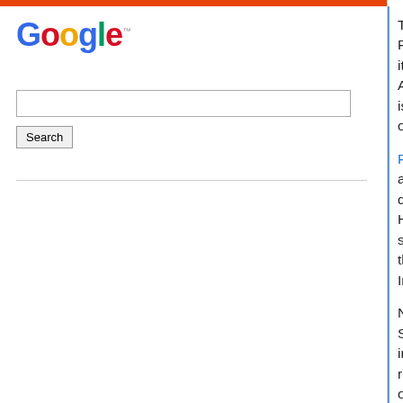[Figure (logo): Google logo with colored letters and trademark symbol]
The Republicans have already paved the way for Kyle/Lieberman bill, which labels Iran's Revolutionary Guard Corps as a terrorist organization for its involvement in supplying and arming the insurgency (against American troops). This bill, which Senator Clinton also voted for, is the first in recent history to label a faction of a sovereign state's military as a terrorist organization.
Patrick Clawson, a senior scholar in a hawkish institute, praised the arrest of four Iranian diplomats in northern Iraq in January as effectively deterring Iranians and that it is in the interest of the United States. He also argued that the UN Security Council's sanctions have been somewhat effective. However, he claimed there are some hardliners that hardliners in Tehran have refused to hand over, which makes Iran an easy target.
No wonder President Bush called Iran the most dangerous nation to the United States along with Al-Qaeda earlier last month. The United States is enmeshed in the so-called war on terror, the United States is not only fighting the radical Sunni group, but also with Iran's Revolutionary Guard Corps, an arm of Iran's official army.
In fact the stage is set for an attack, more likely an air strike, as Bush suffers from the lowest approval rate and some of the lowest in the White House. Additionally, military officials continuously point to Iranian presence as well as Tehran's defiance in stalling its nuclear program could set the day for Republicans by ordering a military attack on Iran.
Only last month Adm. Michael Mullen, chairman of the Joint Chiefs and the nation's top military officer, said that "the Pentagon has been planning courses of action" against Iran.